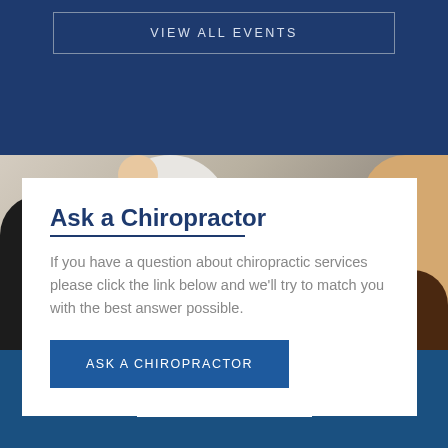VIEW ALL EVENTS
[Figure (photo): Group of medical professionals and patients in background behind white card overlay]
Ask a Chiropractor
If you have a question about chiropractic services please click the link below and we'll try to match you with the best answer possible.
ASK A CHIROPRACTOR
Our Happy Members